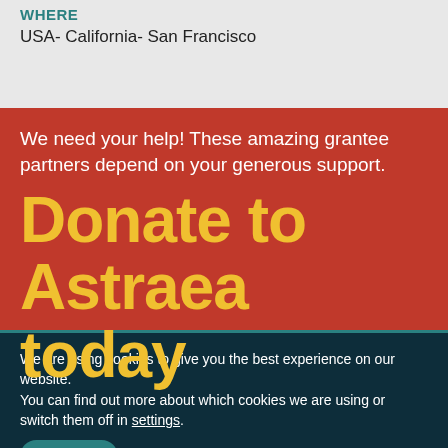WHERE
USA- California- San Francisco
We need your help! These amazing grantee partners depend on your generous support.
Donate to Astraea today
We are using cookies to give you the best experience on our website.
You can find out more about which cookies we are using or switch them off in settings.
Accept